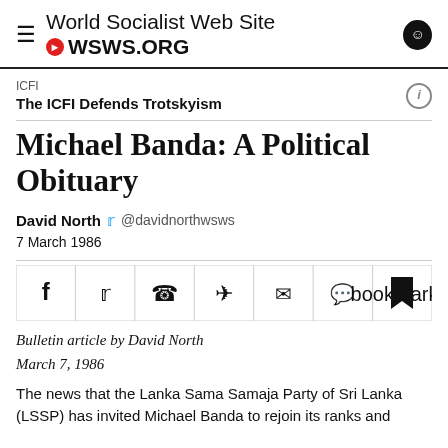World Socialist Web Site • WSWS.ORG
ICFI
The ICFI Defends Trotskyism
Michael Banda: A Political Obituary
David North @davidnorthwsws
7 March 1986
Bulletin article by David North
March 7, 1986
The news that the Lanka Sama Samaja Party of Sri Lanka (LSSP) has invited Michael Banda to rejoin its ranks and